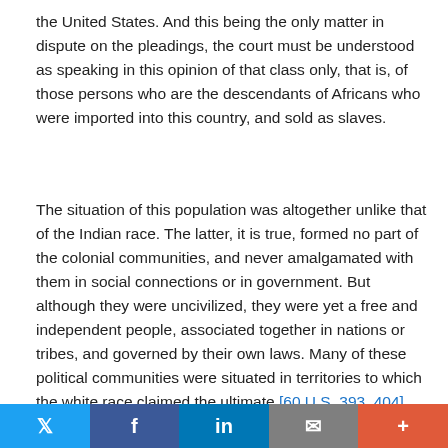the United States. And this being the only matter in dispute on the pleadings, the court must be understood as speaking in this opinion of that class only, that is, of those persons who are the descendants of Africans who were imported into this country, and sold as slaves.
The situation of this population was altogether unlike that of the Indian race. The latter, it is true, formed no part of the colonial communities, and never amalgamated with them in social connections or in government. But although they were uncivilized, they were yet a free and independent people, associated together in nations or tribes, and governed by their own laws. Many of these political communities were situated in territories to which the white race claimed the ultimate [60 U.S. 393, 404] right of dominion. But that claim was acknowledged to be subject to the right of the Indians to occupy it as long as they thought proper, and neither the
Twitter | Facebook | LinkedIn | Email | +